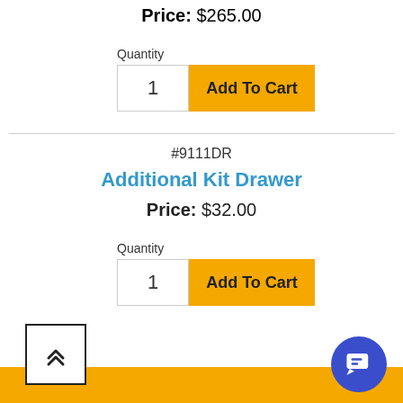Price:  $265.00
Quantity
1
Add To Cart
#9111DR
Additional Kit Drawer
Price:  $32.00
Quantity
1
Add To Cart